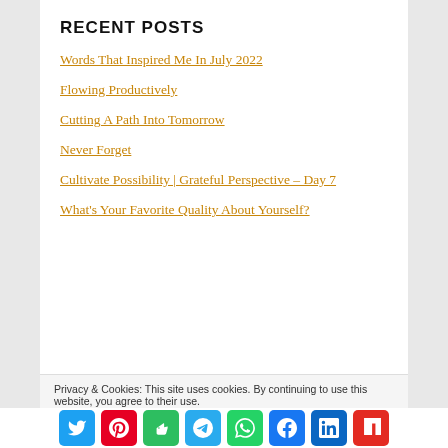RECENT POSTS
Words That Inspired Me In July 2022
Flowing Productively
Cutting A Path Into Tomorrow
Never Forget
Cultivate Possibility | Grateful Perspective – Day 7
What's Your Favorite Quality About Yourself?
Privacy & Cookies: This site uses cookies. By continuing to use this website, you agree to their use.
To find out more, including how to control cookies, see here: Cookie Policy
[Figure (infographic): Social share buttons: Twitter, Pinterest, Evernote, Telegram, WhatsApp, Facebook, LinkedIn, Flipboard]